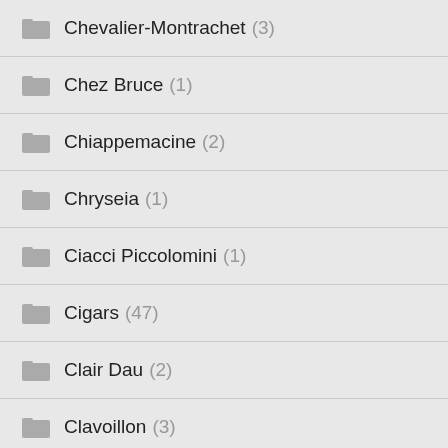Chevalier-Montrachet (3)
Chez Bruce (1)
Chiappemacine (2)
Chryseia (1)
Ciacci Piccolomini (1)
Cigars (47)
Clair Dau (2)
Clavoillon (3)
Clerc Milon (2)
Clerico (1)